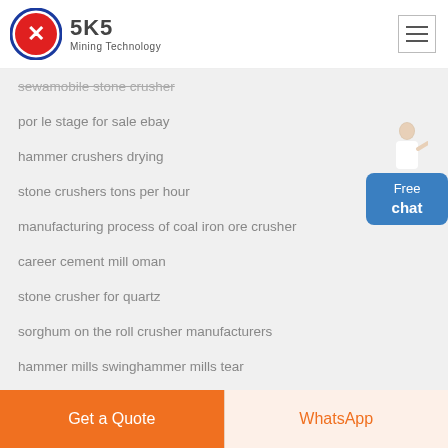[Figure (logo): SKS Mining Technology logo with circular red and blue emblem and company name]
sewamobile stone crusher
por le stage for sale ebay
hammer crushers drying
stone crushers tons per hour
manufacturing process of coal iron ore crusher
career cement mill oman
stone crusher for quartz
sorghum on the roll crusher manufacturers
hammer mills swinghammer mills tear
Free chat
Get a Quote
WhatsApp